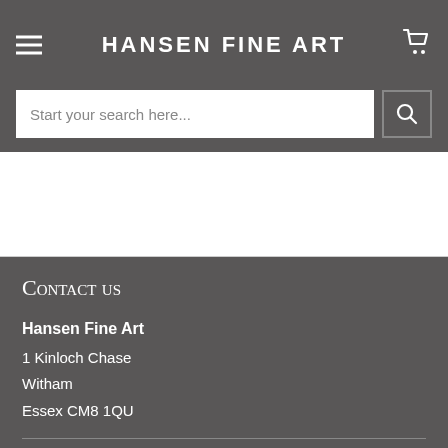HANSEN FINE ART
Start your search here...
Contact us
Hansen Fine Art
1 Kinloch Chase
Witham
Essex CM8 1QU
Art Prints